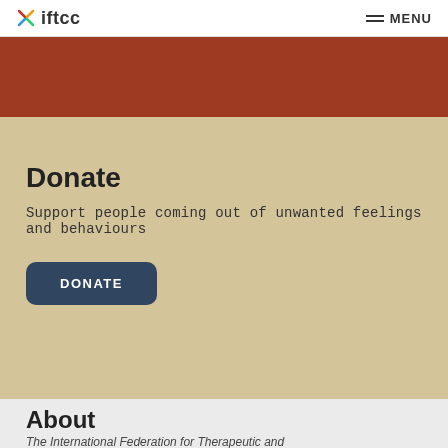iftcc | MENU
Donate
Support people coming out of unwanted feelings and behaviours
DONATE
About
The International Federation for Therapeutic and Counselling Choice (IFTCC) is a multi-disciplinary